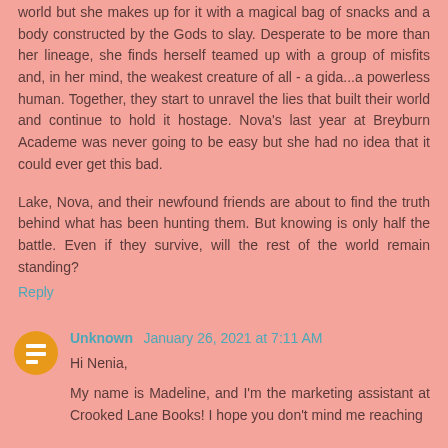world but she makes up for it with a magical bag of snacks and a body constructed by the Gods to slay. Desperate to be more than her lineage, she finds herself teamed up with a group of misfits and, in her mind, the weakest creature of all - a gida...a powerless human. Together, they start to unravel the lies that built their world and continue to hold it hostage. Nova's last year at Breyburn Academe was never going to be easy but she had no idea that it could ever get this bad.
Lake, Nova, and their newfound friends are about to find the truth behind what has been hunting them. But knowing is only half the battle. Even if they survive, will the rest of the world remain standing?
Reply
Unknown January 26, 2021 at 7:11 AM
Hi Nenia,
My name is Madeline, and I'm the marketing assistant at Crooked Lane Books! I hope you don't mind me reaching